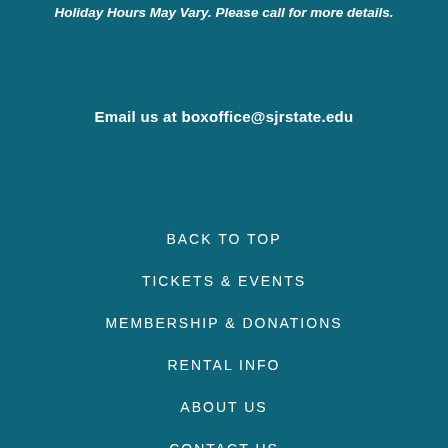Holiday Hours May Vary. Please call for more details.
Email us at boxoffice@sjrstate.edu
BACK TO TOP
TICKETS & EVENTS
MEMBERSHIP & DONATIONS
RENTAL INFO
ABOUT US
CONTACT US